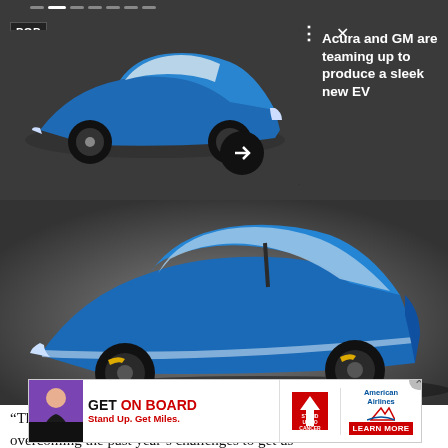[Figure (screenshot): Pop Sci push notification showing a blue Acura EV concept car with headline 'Acura and GM are teaming up to produce a sleek new EV']
Acura and GM are teaming up to produce a sleek new EV
[Figure (photo): Close-up photo of blue Acura EV concept car from a low angle side view on grey background]
“The team’s tenacity, expertise, and commitment were key in overcoming the past year’s challenges to get us to the [Performance Excellence Program]
[Figure (infographic): Advertisement banner: GET ON BOARD Stand Up. Get Miles. Stand Up To Cancer and American Airlines - LEARN MORE]